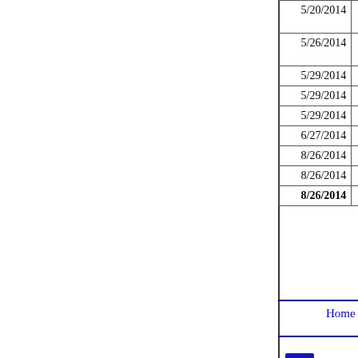| Date | Chamber | Action |
| --- | --- | --- |
| 5/20/2014 | House | Senate Committee Amend... Committee |
| 5/26/2014 | House | Senate Committee Amend... Adopted Rules Committee... |
| 5/29/2014 | House | Senate Committee Amend... |
| 5/29/2014 | House | House Concurs |
| 5/29/2014 | House | Passed Both Houses |
| 6/27/2014 | House | Sent to the Governor |
| 8/26/2014 | House | Governor Approved |
| 8/26/2014 | House | Effective Date January 1, |
| 8/26/2014 | House | Public Act . . . . . . . . . . 98 |
Back To
Home | Legislation & Laws | House | Sena...
This site is maintained for the Illinois Gener... Legislative Information System, 705 Stratto... 217-782-3944   217-782-2050 (TTY)